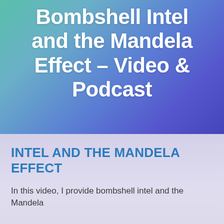Bombshell Intel and the Mandela Effect – Video & Podcast
INTEL AND THE MANDELA EFFECT
In this video, I provide bombshell intel and the Mandela